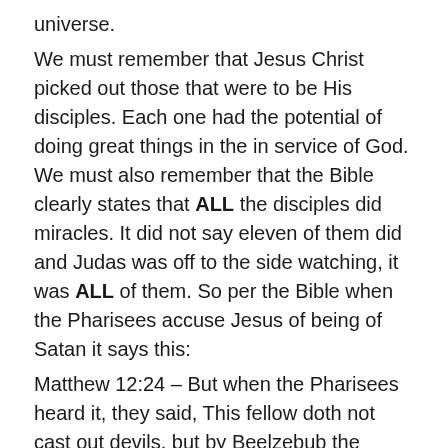universe.
We must remember that Jesus Christ picked out those that were to be His disciples. Each one had the potential of doing great things in the in service of God. We must also remember that the Bible clearly states that ALL the disciples did miracles. It did not say eleven of them did and Judas was off to the side watching, it was ALL of them. So per the Bible when the Pharisees accuse Jesus of being of Satan it says this:
Matthew 12:24 – But when the Pharisees heard it, they said, This fellow doth not cast out devils, but by Beelzebub the prince of the devils. 25 And Jesus knew their thoughts, and said unto them, Every kingdom divided against itself is brought to desolation; and every city or house divided against itself shall not stand: 26 And if Satan cast out Satan, he is divided against himself; how shall then his